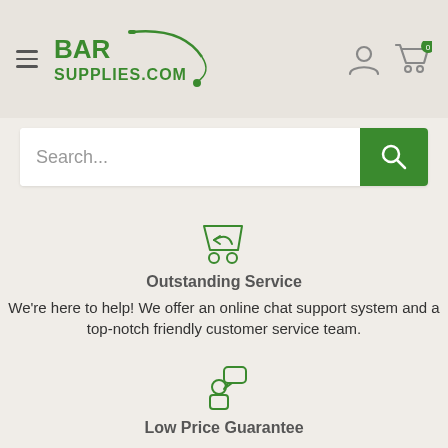[Figure (logo): BarSupplies.com logo with green text and archery/fly fishing motif]
Search...
[Figure (illustration): Shopping cart with return arrow icon (green outline)]
Outstanding Service
We're here to help! We offer an online chat support system and a top-notch friendly customer service team.
[Figure (illustration): Person with speech bubble icon (green outline)]
Low Price Guarantee
If you find one of our products on the internet for less, call us and we'll beat their price by 5%
[Figure (illustration): Credit card / wallet with lock icon (gray outline)]